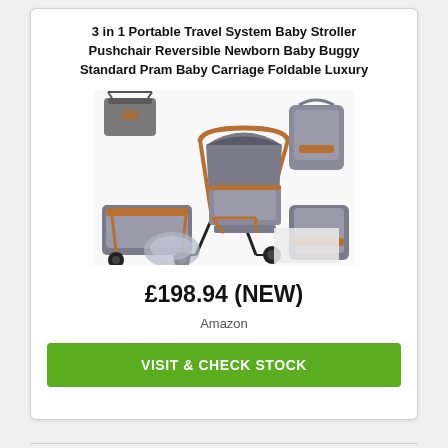3 in 1 Portable Travel System Baby Stroller Pushchair Reversible Newborn Baby Buggy Standard Pram Baby Carriage Foldable Luxury
[Figure (photo): Product photo showing a grey and brown/copper 3-in-1 baby travel system with stroller, carrycot, car seat, rain cover, and changing bag]
£198.94 (NEW)
Amazon
VISIT & CHECK STOCK